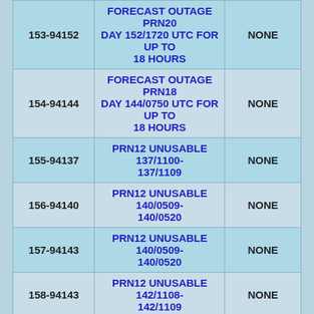| 153-94152 | FORECAST OUTAGE PRN20 DAY 152/1720 UTC FOR UP TO 18 HOURS | NONE |
| 154-94144 | FORECAST OUTAGE PRN18 DAY 144/0750 UTC FOR UP TO 18 HOURS | NONE |
| 155-94137 | PRN12 UNUSABLE 137/1100-137/1109 | NONE |
| 156-94140 | PRN12 UNUSABLE 140/0509-140/0520 | NONE |
| 157-94143 | PRN12 UNUSABLE 140/0509-140/0520 | NONE |
| 158-94143 | PRN12 UNUSABLE 142/1108-142/1109 | NONE |
| 159-94143 | PRN12 UNUSABLE 142/1700-142/1709 | NONE |
| 160-94181 | LEAP SECOND | LEAPSEC |
| 161-94145 | FORECAST OUTAGE SUMMARY PRN18 144/0824-144/1605 | NONE |
|  | PRN12 UNUSABLE 142/1221- |  |